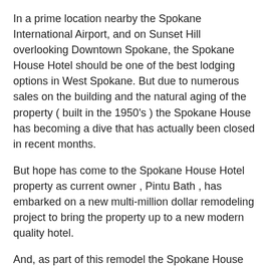In a prime location nearby the Spokane International Airport, and on Sunset Hill overlooking Downtown Spokane, the Spokane House Hotel should be one of the best lodging options in West Spokane. But due to numerous sales on the building and the natural aging of the property ( built in the 1950's ) the Spokane House has becoming a dive that has actually been closed in recent months.
But hope has come to the Spokane House Hotel property as current owner , Pintu Bath , has embarked on a new multi-million dollar remodeling project to bring the property up to a new modern quality hotel.
And, as part of this remodel the Spokane House will actually re brand under the Red Lion Hotel name. This will be one of many recent new franchised hotels to join the Spokane based Red Lion chain. It will also be the second local investment for Red Lion as the company recently announced a remodel of their Red Lion at the Park Hotel property which will be converted to Red Lion's more upscale Hotel RL brand. More on that here- http://www.inlandnwbusiness.com/2015/03/red-lion-hotel-at...